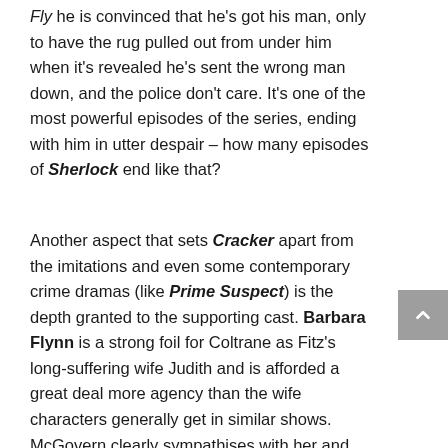Fly he is convinced that he's got his man, only to have the rug pulled out from under him when it's revealed he's sent the wrong man down, and the police don't care. It's one of the most powerful episodes of the series, ending with him in utter despair – how many episodes of Sherlock end like that?
Another aspect that sets Cracker apart from the imitations and even some contemporary crime dramas (like Prime Suspect) is the depth granted to the supporting cast. Barbara Flynn is a strong foil for Coltrane as Fitz's long-suffering wife Judith and is afforded a great deal more agency than the wife characters generally get in similar shows. McGovern clearly sympathises with her and makes her more than a match for Fitz intellectually. The same goes for Penhaligan, (affectionately nicknamed Panhandle by Fitz) the sharp, intelligent Detective Sergeant who is